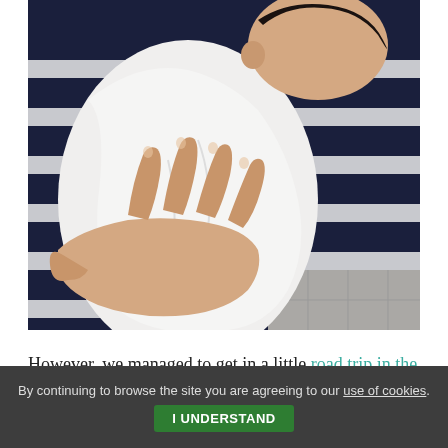[Figure (photo): Close-up photo of a baby in a white onesie being held against an adult's chest, which is wearing a navy and white striped shirt. An adult hand is visible supporting the baby's back.]
However, we managed to get in a little road trip in the
By continuing to browse the site you are agreeing to our use of cookies.  I UNDERSTAND